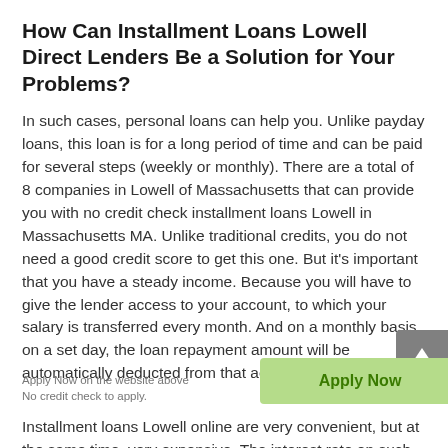How Can Installment Loans Lowell Direct Lenders Be a Solution for Your Problems?
In such cases, personal loans can help you. Unlike payday loans, this loan is for a long period of time and can be paid for several steps (weekly or monthly). There are a total of 8 companies in Lowell of Massachusetts that can provide you with no credit check installment loans Lowell in Massachusetts MA. Unlike traditional credits, you do not need a good credit score to get this one. But it's important that you have a steady income. Because you will have to give the lender access to your account, to which your salary is transferred every month. And on a monthly basis, on a set day, the loan repayment amount will be automatically deducted from that account.
Installment loans Lowell online are very convenient, but at the same time, very expensive. The interest rate on such